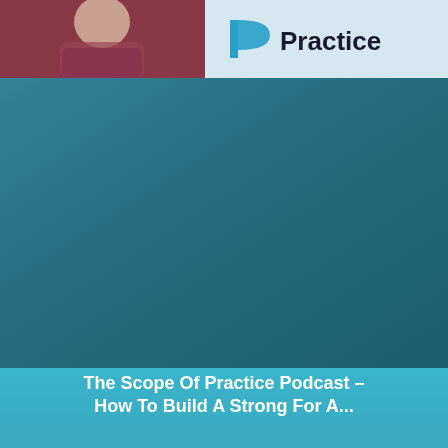[Figure (photo): Top banner with a person in a maroon shirt on the left and a logo reading 'Practice' with a stylized icon on the right, on a light blue-grey background]
[Figure (photo): Large teal/dark teal background area, main body of the podcast cover image]
The Scope Of Practice Podcast – How To Build A Strong For A...